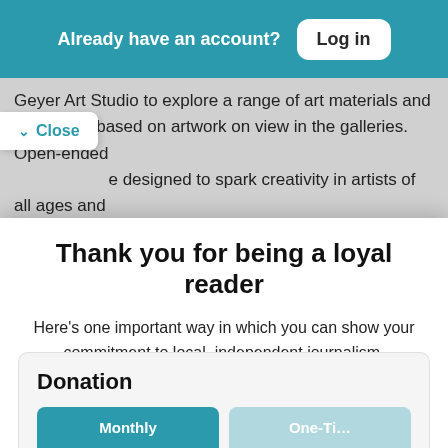Already have an account? Log in
Geyer Art Studio to explore a range of art materials and processes based on artwork on view in the galleries. Open-ended [activities] are designed to spark creativity in artists of all ages and [with seasoned MAM studio instructors standing by to
Thank you for being a loyal reader
Here's one important way in which you can show your commitment to local, independent journalism.
Please become a Baristanet supporter at the level of your choice. Every dollar is greatly appreciated. Thank you.
Donation
Monthly | One-Ti[me]